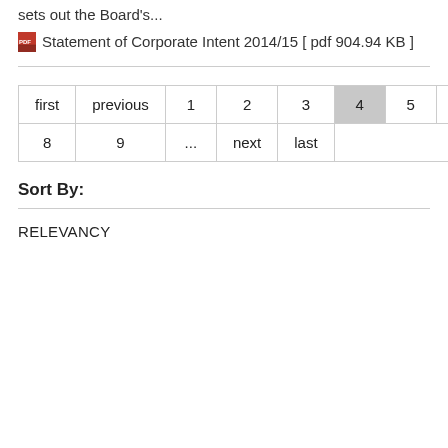sets out the Board's...
Statement of Corporate Intent 2014/15 [ pdf 904.94 KB ]
| first | previous | 1 | 2 | 3 | 4 | 5 | 6 | 7 |
| 8 | 9 | ... | next | last |
Sort By:
RELEVANCY